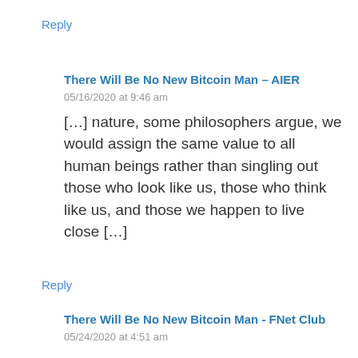Reply
There Will Be No New Bitcoin Man – AIER
05/16/2020 at 9:46 am
[…] nature, some philosophers argue, we would assign the same value to all human beings rather than singling out those who look like us, those who think like us, and those we happen to live close […]
Reply
There Will Be No New Bitcoin Man - FNet Club
05/24/2020 at 4:51 am